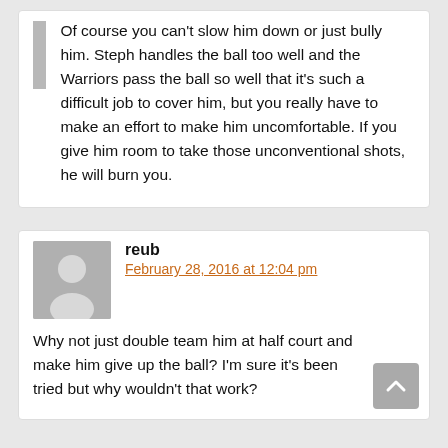Of course you can't slow him down or just bully him. Steph handles the ball too well and the Warriors pass the ball so well that it's such a difficult job to cover him, but you really have to make an effort to make him uncomfortable. If you give him room to take those unconventional shots, he will burn you.
reub
February 28, 2016 at 12:04 pm
Why not just double team him at half court and make him give up the ball? I'm sure it's been tried but why wouldn't that work?